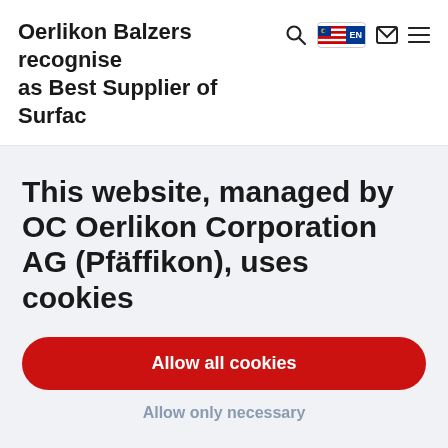Oerlikon Balzers recognised as Best Supplier of Surface
This website, managed by OC Oerlikon Corporation AG (Pfäffikon), uses cookies
Allow all cookies
Allow only necessary
This website uses:
necessary cookies: ensure the normal functioning of the website by enabling basic